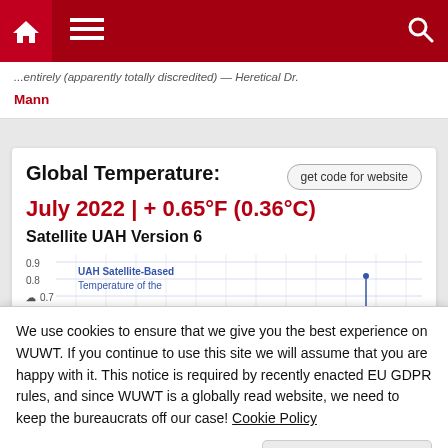Navigation bar with home, menu, and search icons
...entirely (apparently totally discredited) — Heretical Dr. Mann
Global Temperature:
July 2022 | + 0.65°F (0.36°C)
Satellite UAH Version 6
[Figure (continuous-plot): Partial view of UAH Satellite-Based Temperature of the [globe] chart, y-axis labels 0.9, 0.8, 0.7 visible]
We use cookies to ensure that we give you the best experience on WUWT. If you continue to use this site we will assume that you are happy with it. This notice is required by recently enacted EU GDPR rules, and since WUWT is a globally read website, we need to keep the bureaucrats off our case! Cookie Policy
Close and accept